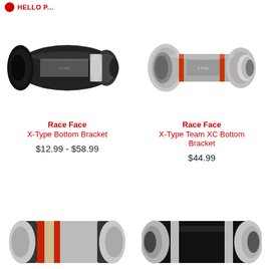HELLO P...
[Figure (photo): Race Face X-Type Bottom Bracket – black cylindrical bottom bracket component]
[Figure (photo): Race Face X-Type Team XC Bottom Bracket – silver/grey cylindrical bottom bracket component with red ring]
Race Face
X-Type Bottom Bracket
$12.99 - $58.99
Race Face
X-Type Team XC Bottom Bracket
$44.99
[Figure (photo): Bottom bracket component – silver and black with colored rings (partial, bottom of page)]
[Figure (photo): Bottom bracket component – black and silver (partial, bottom of page)]